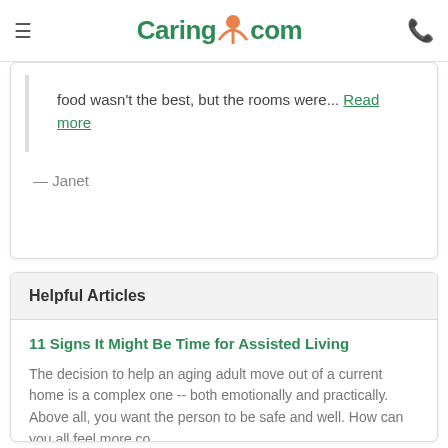Caring.com
food wasn't the best, but the rooms were... Read more
— Janet
Helpful Articles
11 Signs It Might Be Time for Assisted Living
The decision to help an aging adult move out of a current home is a complex one -- both emotionally and practically. Above all, you want the person to be safe and well. How can you all feel more co...